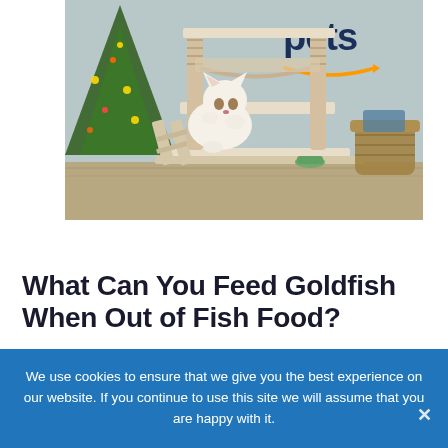[Figure (photo): A white fluffy cat sitting on a beige multi-level cat tree/tower with scratching posts and a hammock. A Christmas tree with lights is visible on the left side. An Amazon Pets logo (dark blue text 'pets' with Amazon smile arrow) appears in the upper right. A wicker basket is visible in the background on the right.]
What Can You Feed Goldfish When Out of Fish Food?
We use cookies to ensure that we give you the best experience on our website. If you continue to use this site we will assume that you are happy with it.